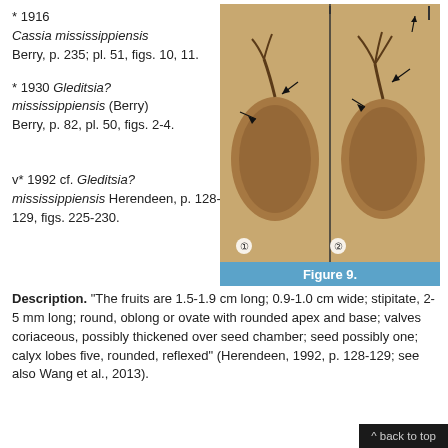* 1916 Cassia mississippiensis Berry, p. 235; pl. 51, figs. 10, 11.
* 1930 Gleditsia? mississippiensis (Berry) Berry, p. 82, pl. 50, figs. 2-4.
[Figure (photo): Two fossil leaf/fruit specimens side by side on rock matrix, with arrows pointing to features. Labeled 1 and 2 at bottom.]
Figure 9.
v* 1992 cf. Gleditsia? mississippiensis Herendeen, p. 128-129, figs. 225-230.
Description. “The fruits are 1.5-1.9 cm long; 0.9-1.0 cm wide; stipitate, 2-5 mm long; round, oblong or ovate with rounded apex and base; valves coriaceous, possibly thickened over seed chamber; seed possibly one; calyx lobes five, rounded, reflexed” (Herendeen, 1992, p. 128-129; see also Wang et al., 2013).
^ back to top